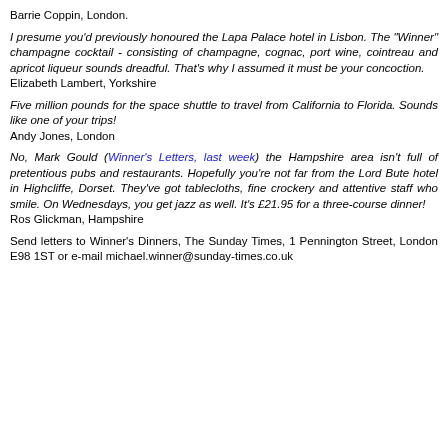Barrie Coppin, London.
I presume you'd previously honoured the Lapa Palace hotel in Lisbon. The "Winner" champagne cocktail - consisting of champagne, cognac, port wine, cointreau and apricot liqueur sounds dreadful. That's why I assumed it must be your concoction.
Elizabeth Lambert, Yorkshire
Five million pounds for the space shuttle to travel from California to Florida. Sounds like one of your trips!
Andy Jones, London
No, Mark Gould (Winner's Letters, last week) the Hampshire area isn't full of pretentious pubs and restaurants. Hopefully you're not far from the Lord Bute hotel in Highcliffe, Dorset. They've got tablecloths, fine crockery and attentive staff who smile. On Wednesdays, you get jazz as well. It's £21.95 for a three-course dinner!
Ros Glickman, Hampshire
Send letters to Winner's Dinners, The Sunday Times, 1 Pennington Street, London E98 1ST or e-mail michael.winner@sunday-times.co.uk